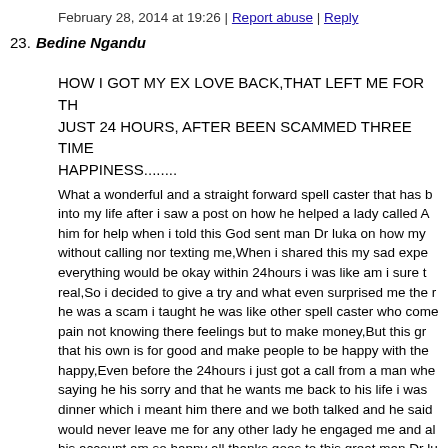February 28, 2014 at 19:26 | Report abuse | Reply
23. Bedine Ngandu
HOW I GOT MY EX LOVE BACK,THAT LEFT ME FOR TH JUST 24 HOURS, AFTER BEEN SCAMMED THREE TIME HAPPINESS........
What a wonderful and a straight forward spell caster that has b into my life after i saw a post on how he helped a lady called A him for help when i told this God sent man Dr luka on how my without calling nor texting me,When i shared this my sad expe everything would be okay within 24hours i was like am i sure t real,So i decided to give a try and what even surprised me the he was a scam i taught he was like other spell caster who come pain not knowing there feelings but to make money,But this gr that his own is for good and make people to be happy with the happy,Even before the 24hours i just got a call from a man whe saying he his sorry and that he wants me back to his life i was dinner which i meant him there and we both talked and he said would never leave me for any other lady he engaged me and al his account am so happy all thanks goes to this great man Dr lu back joy to my life,Please friends that needs help i would advi right man and not those fake ones who are online to make mor is Dr luka's private mail whiteancientmagicspell@gmail.com Name;Bedine Ngandu, Country;USA,lexington,kentucky